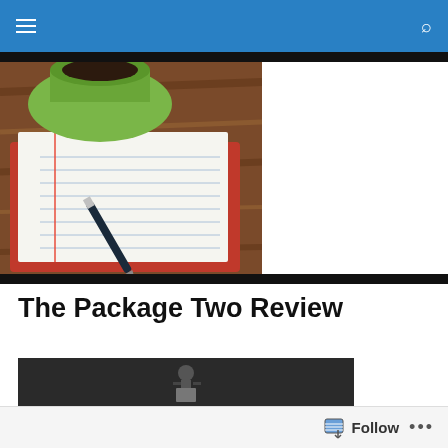Navigation bar with menu and search icons
[Figure (photo): Overhead photo of a notebook with lined pages, a pen resting on it, and a green coffee cup on a wooden table background]
The Package Two Review
[Figure (photo): Book cover of 'The Package Two' showing large red text 'THE PACKAGE' against a dark monochrome background with a figure carrying a package]
Follow  ...